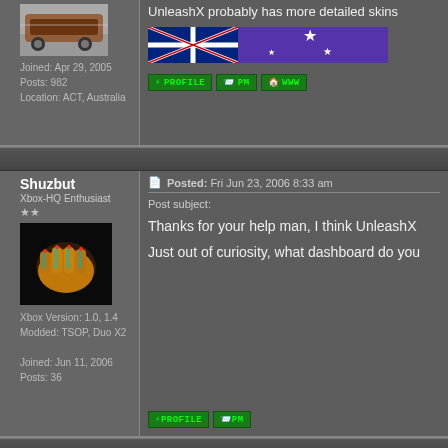[Figure (screenshot): Forum post user avatar showing a car in a parking lot]
Joined: Apr 29, 2005
Posts: 982
Location: ACT, Australia
[Figure (photo): Australian flag banner with purple starfield]
[Figure (screenshot): Forum buttons: PROFILE, PM, WWW]
Shuzbut
Xbox-HQ Enthusiast
[Figure (photo): Avatar image showing a glowing mechanical hand/fist on black background]
Xbox Version: 1.0, 1.4
Modded: TSOP, Duo X2
Joined: Jun 11, 2006
Posts: 36
Posted: Fri Jun 23, 2006 8:33 am
Post subject:
Thanks for your help man, I think UnleashX
Just out of curiosity, what dashboard do you
[Figure (screenshot): Forum buttons: PROFILE, PM]
roo465
Moderator
Posted: Fri Jun 23, 2006 8:41 am
Post subject:
Personally, I would have to agree with you